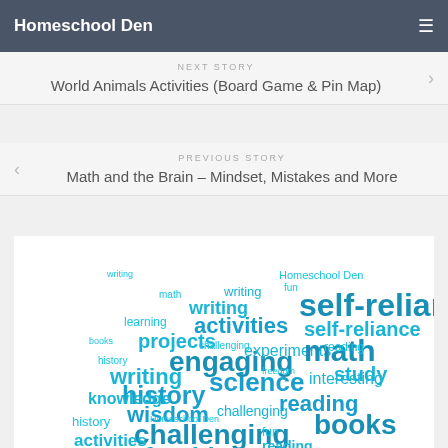Homeschool Den
NEXT STORY
World Animals Activities (Board Game & Pin Map)
PREVIOUS STORY
Math and the Brain – Mindset, Mistakes and More
[Figure (other): Word cloud in the shape of a house/arrow featuring education-related words in blue: hands-on, freebies, challenging, wisdom, history, writing, engaging, activities, projects, science, reading, math, self-reliance, books, interesting, knowledge, fun, Homeschool Den, learning, workshop, study, experiments, and more.]